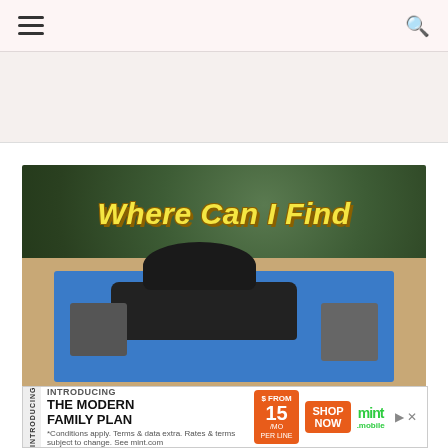Navigation menu and search icon
[Figure (photo): Photo of exercise equipment (weight bench and dumbbells) on a blue foam mat on a patio, with overlaid text 'Where Can I Find Exercise Mats???']
[Figure (infographic): Advertisement banner for The Modern Family Plan by Mint Mobile, from $15/mo per line, with Shop Now button]